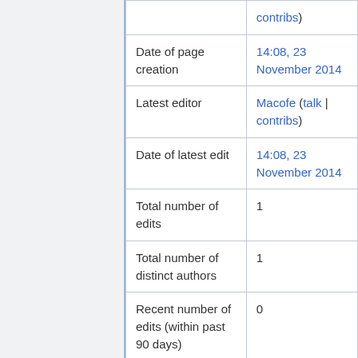|  | contribs) |
| Date of page creation | 14:08, 23 November 2014 |
| Latest editor | Macofe (talk | contribs) |
| Date of latest edit | 14:08, 23 November 2014 |
| Total number of edits | 1 |
| Total number of distinct authors | 1 |
| Recent number of edits (within past 90 days) | 0 |
| Recent number of distinct authors | 0 |